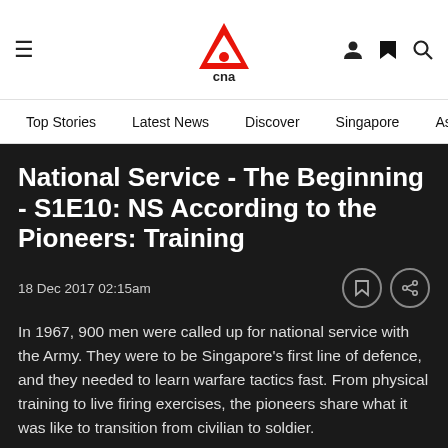≡   CNA   👤 🔖 🔍
Top Stories   Latest News   Discover   Singapore   Asia   C
National Service - The Beginning - S1E10: NS According to the Pioneers: Training
18 Dec 2017 02:15am
In 1967, 900 men were called up for national service with the Army. They were to be Singapore's first line of defence, and they needed to learn warfare tactics fast. From physical training to live firing exercises, the pioneers share what it was like to transition from civilian to soldier.
About the show: